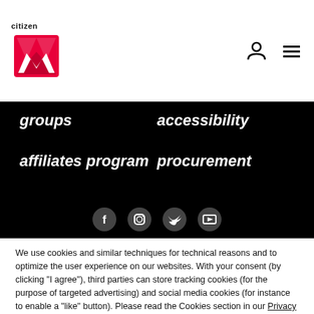citizenM logo with navigation icons
groups
accessibility
affiliates program
procurement
[Figure (illustration): Social media icon buttons (Facebook, Instagram, Twitter, YouTube) in white circles on black background]
We use cookies and similar techniques for technical reasons and to optimize the user experience on our websites. With your consent (by clicking "I agree"), third parties can store tracking cookies (for the purpose of targeted advertising) and social media cookies (for instance to enable a "like" button). Please read the Cookies section in our Privacy Statement to learn more about the cookies used on our website.
I agree
Click here to say no and run for the hills.